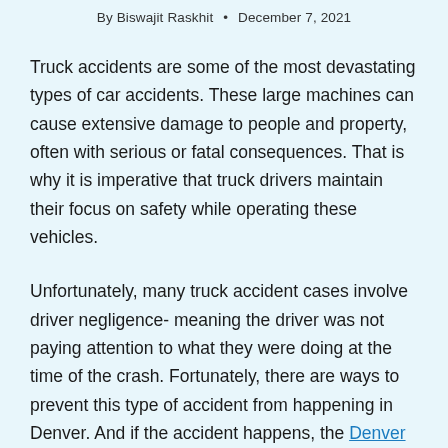By Biswajit Raskhit • December 7, 2021
Truck accidents are some of the most devastating types of car accidents. These large machines can cause extensive damage to people and property, often with serious or fatal consequences. That is why it is imperative that truck drivers maintain their focus on safety while operating these vehicles.
Unfortunately, many truck accident cases involve driver negligence- meaning the driver was not paying attention to what they were doing at the time of the crash. Fortunately, there are ways to prevent this type of accident from happening in Denver. And if the accident happens, the Denver